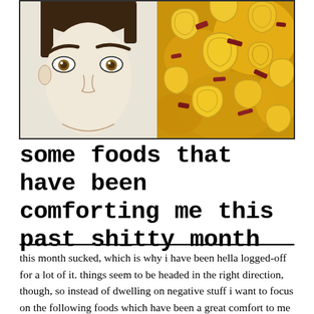[Figure (illustration): Split image: left half shows a stylized comic-book illustration of a man's face with dark hair and brown eyes on a light grey/white background; right half shows a close-up photo of macaroni and cheese pasta with red meat pieces.]
some foods that have been comforting me this past shitty month
this month sucked, which is why i have been hella logged-off for a lot of it. things seem to be headed in the right direction, though, so instead of dwelling on negative stuff i want to focus on the following foods which have been a great comfort to me this summer.